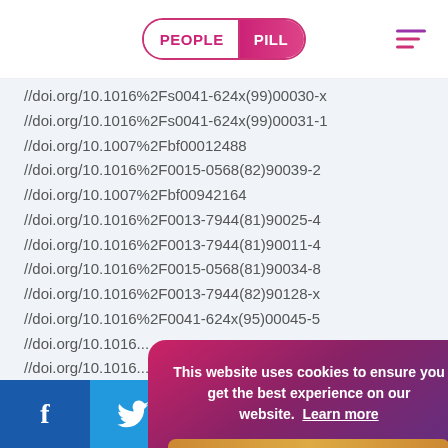PEOPLE PILL
//doi.org/10.1016%2Fs0041-624x(99)00030-x
//doi.org/10.1016%2Fs0041-624x(99)00031-1
//doi.org/10.1007%2Fbf00012488
//doi.org/10.1016%2F0015-0568(82)90039-2
//doi.org/10.1007%2Fbf00942164
//doi.org/10.1016%2F0013-7944(81)90025-4
//doi.org/10.1016%2F0013-7944(81)90011-4
//doi.org/10.1016%2F0015-0568(81)90034-8
//doi.org/10.1016%2F0013-7944(82)90128-x
//doi.org/10.1016%2F0041-624x(95)00045-5
//doi.org/10.1016...
//doi.org/10.1016...
https://ui.adsabs...
//doi.org/10.1115...
//doi.org/10.108...
//doi.org/10.108...
//doi.org/10.108...
This website uses cookies to ensure you get the best experience on our website. Learn more
Got it!
Facebook Twitter Reddit LinkedIn WhatsApp